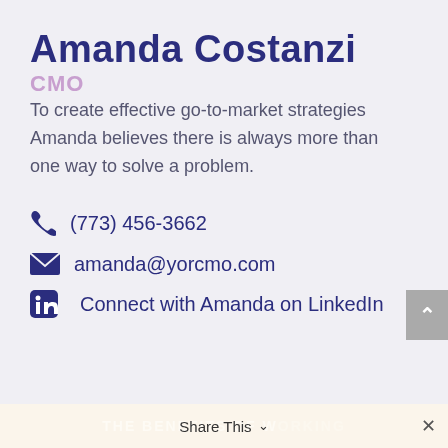Amanda Costanzi
CMO
To create effective go-to-market strategies Amanda believes there is always more than one way to solve a problem.
(773) 456-3662
amanda@yorcmo.com
Connect with Amanda on LinkedIn
THE BENEFITS OF WORKING